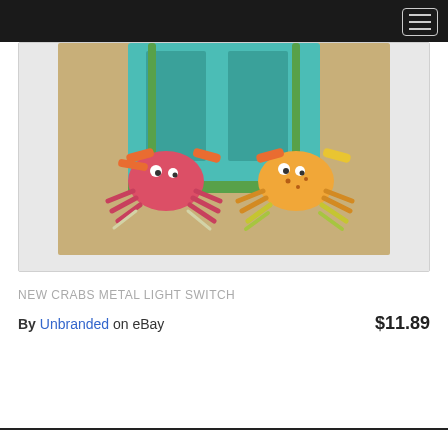[Figure (photo): A metal light switch cover featuring two decorative crabs - one pink/red on the left and one orange/yellow on the right, with teal/turquoise switch plate background, packaged in plastic wrap on a cardboard backing.]
NEW CRABS METAL LIGHT SWITCH
By Unbranded on eBay   $11.89